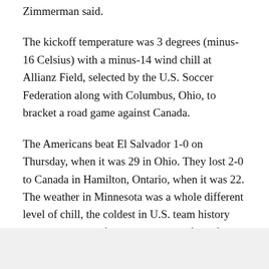Zimmerman said.
The kickoff temperature was 3 degrees (minus-16 Celsius) with a minus-14 wind chill at Allianz Field, selected by the U.S. Soccer Federation along with Columbus, Ohio, to bracket a road game against Canada.
The Americans beat El Salvador 1-0 on Thursday, when it was 29 in Ohio. They lost 2-0 to Canada in Hamilton, Ontario, when it was 22. The weather in Minnesota was a whole different level of chill, the coldest in U.S. team history and in violation of USSF guidelines for safe outdoor play. The game ended with a 1-degree temperature.